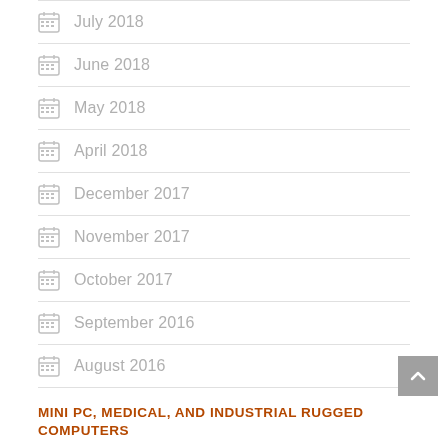July 2018
June 2018
May 2018
April 2018
December 2017
November 2017
October 2017
September 2016
August 2016
MINI PC, MEDICAL, AND INDUSTRIAL RUGGED COMPUTERS